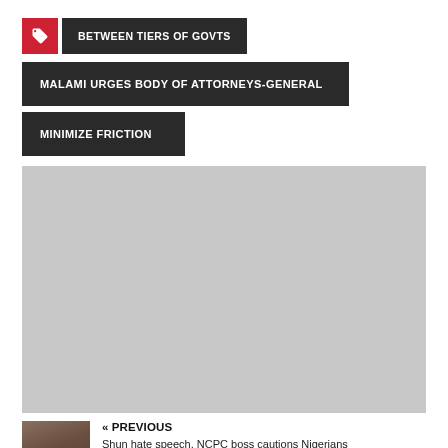BETWEEN TIERS OF GOVTS
MALAMI URGES BODY OF ATTORNEYS-GENERAL
MINIMIZE FRICTION
[Figure (photo): Large grey placeholder image area]
« PREVIOUS
[Figure (photo): Small thumbnail portrait of a person]
Shun hate speech, NCPC boss cautions Nigerians